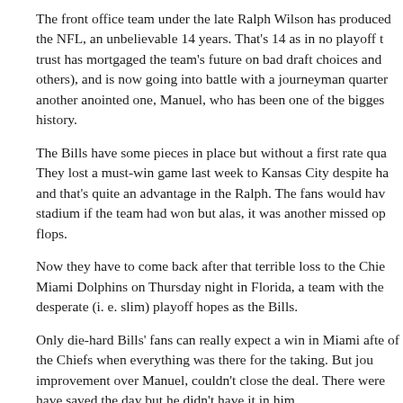The front office team under the late Ralph Wilson has produced the NFL, an unbelievable 14 years. That's 14 as in no playoff t trust has mortgaged the team's future on bad draft choices and others), and is now going into battle with a journeyman quarter another anointed one, Manuel, who has been one of the bigges history.
The Bills have some pieces in place but without a first rate qua They lost a must-win game last week to Kansas City despite ha and that's quite an advantage in the Ralph. The fans would hav stadium if the team had won but alas, it was another missed op flops.
Now they have to come back after that terrible loss to the Chie Miami Dolphins on Thursday night in Florida, a team with the desperate (i. e. slim) playoff hopes as the Bills.
Only die-hard Bills' fans can really expect a win in Miami afte of the Chiefs when everything was there for the taking. But jou improvement over Manuel, couldn't close the deal. There were have saved the day but he didn't have it in him.
The Bills will likely miss the playoffs again for the 15th straigh they face over the next several weeks. The fans are loyal but lo fans after all these years.